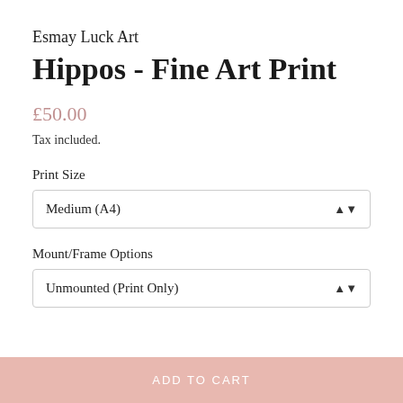Esmay Luck Art
Hippos - Fine Art Print
£50.00
Tax included.
Print Size
Medium (A4)
Mount/Frame Options
Unmounted (Print Only)
ADD TO CART